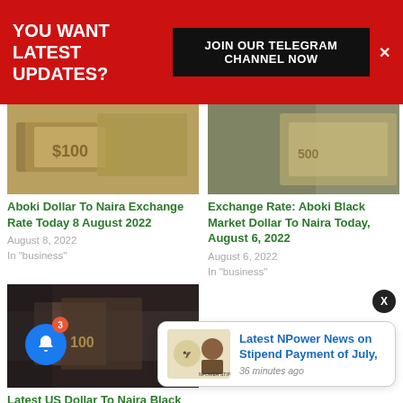YOU WANT LATEST UPDATES?   JOIN OUR TELEGRAM CHANNEL NOW
[Figure (photo): Hands holding dollar bills - Aboki exchange rate article thumbnail]
Aboki Dollar To Naira Exchange Rate Today 8 August 2022
August 8, 2022
In "business"
[Figure (photo): Calculator and currency - Aboki Black Market exchange rate article thumbnail]
Exchange Rate: Aboki Black Market Dollar To Naira Today, August 6, 2022
August 6, 2022
In "business"
[Figure (photo): Hands holding cash money in black market - Latest US Dollar to Naira article thumbnail]
Latest US Dollar To Naira Black Market Rate 22 August 2022
August 22, 2022
In "business"
Latest NPower News on Stipend Payment of July,
36 minutes ago